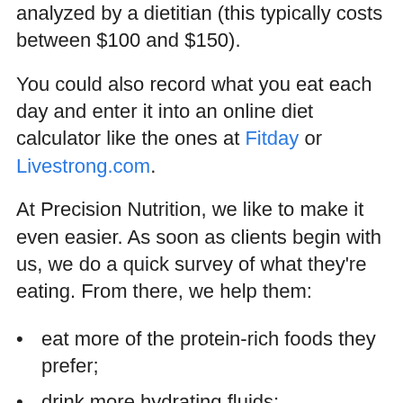analyzed by a dietitian (this typically costs between $100 and $150).
You could also record what you eat each day and enter it into an online diet calculator like the ones at Fitday or Livestrong.com.
At Precision Nutrition, we like to make it even easier. As soon as clients begin with us, we do a quick survey of what they’re eating. From there, we help them:
eat more of the protein-rich foods they prefer;
drink more hydrating fluids;
take in more essential fats (through the use of fish or algae oil); and
eat more foods rich in the vitamins and minerals they need most.